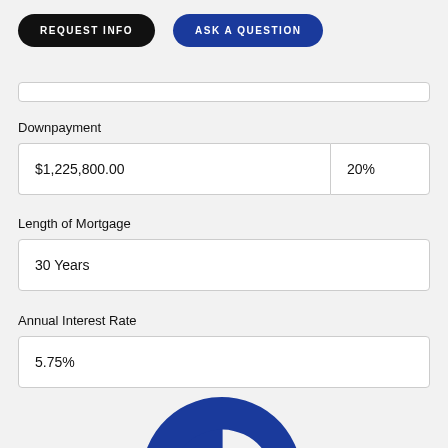REQUEST INFO
ASK A QUESTION
Downpayment
| $1,225,800.00 | 20% |
Length of Mortgage
| 30 Years |
Annual Interest Rate
| 5.75% |
[Figure (donut-chart): Partial donut chart visible at bottom of page, blue and dark gray segments]